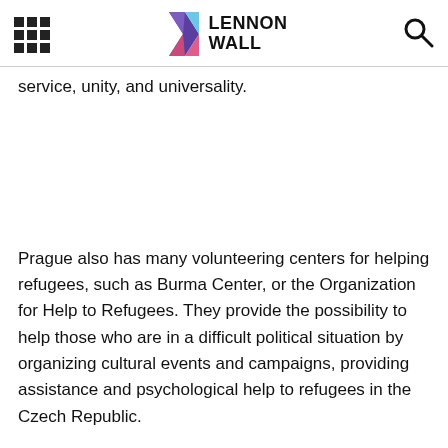LENNON WALL
service, unity, and universality.
Prague also has many volunteering centers for helping refugees, such as Burma Center, or the Organization for Help to Refugees. They provide the possibility to help those who are in a difficult political situation by organizing cultural events and campaigns, providing assistance and psychological help to refugees in the Czech Republic.